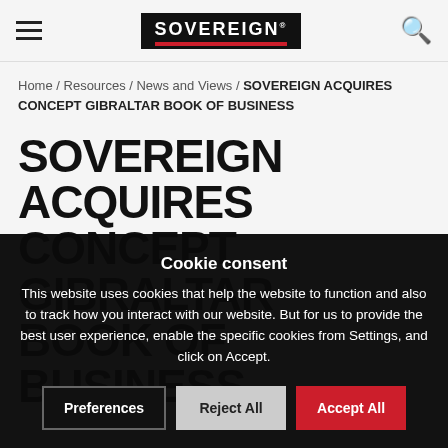SOVEREIGN (logo)
Home / Resources / News and Views / SOVEREIGN ACQUIRES CONCEPT GIBRALTAR BOOK OF BUSINESS
SOVEREIGN ACQUIRES CONCEPT GIBRALTAR BOOK OF BUSINESS
Cookie consent
This website uses cookies that help the website to function and also to track how you interact with our website. But for us to provide the best user experience, enable the specific cookies from Settings, and click on Accept.
Preferences | Reject All | Accept All